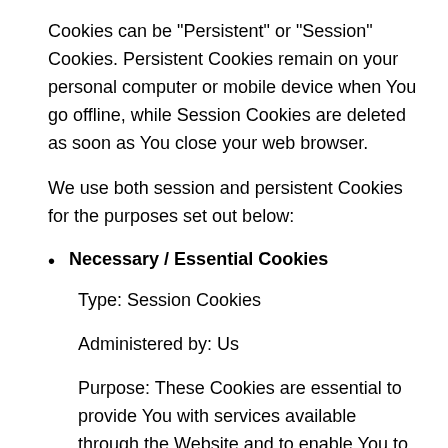Cookies can be "Persistent" or "Session" Cookies. Persistent Cookies remain on your personal computer or mobile device when You go offline, while Session Cookies are deleted as soon as You close your web browser.
We use both session and persistent Cookies for the purposes set out below:
Necessary / Essential Cookies
Type: Session Cookies
Administered by: Us
Purpose: These Cookies are essential to provide You with services available through the Website and to enable You to use some of its features.